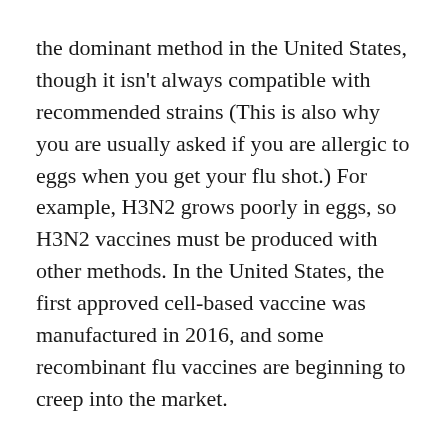the dominant method in the United States, though it isn't always compatible with recommended strains (This is also why you are usually asked if you are allergic to eggs when you get your flu shot.) For example, H3N2 grows poorly in eggs, so H3N2 vaccines must be produced with other methods. In the United States, the first approved cell-based vaccine was manufactured in 2016, and some recombinant flu vaccines are beginning to creep into the market.
Once an official vaccine receives approval, private sector manufacturers begin inoculating eggs with the chosen viruses and harvesting the fluid after incubation. The viruses are either killed for the flu shot or weakened for the nasal spray. After